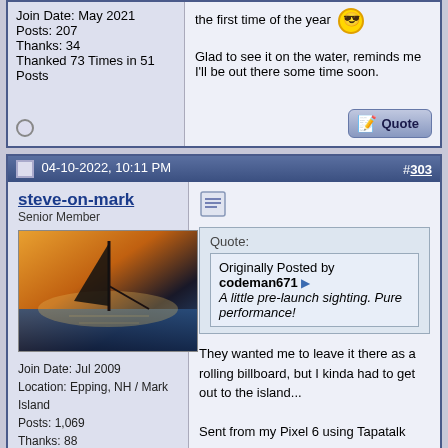Join Date: May 2021
Posts: 207
Thanks: 34
Thanked 73 Times in 51 Posts
the first time of the year ... [emoji] Glad to see it on the water, reminds me I'll be out there some time soon.
04-10-2022, 10:11 PM  #303
steve-on-mark
Senior Member
[Figure (photo): Avatar photo showing a sailboat mast silhouetted against a warm sunset sky over water]
Join Date: Jul 2009
Location: Epping, NH / Mark Island
Posts: 1,069
Thanks: 88
Thanked 517 Times in 270 Posts
Quote:
Originally Posted by codeman671
A little pre-launch sighting. Pure performance!
They wanted me to leave it there as a rolling billboard, but I kinda had to get out to the island...

Sent from my Pixel 6 using Tapatalk
....keeping " urban decay " out of photos for nearly a